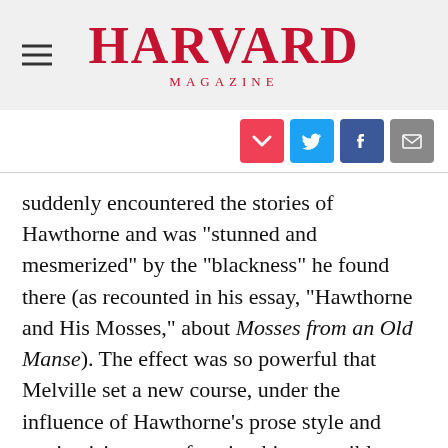HARVARD MAGAZINE
suddenly encountered the stories of Hawthorne and was "stunned and mesmerized" by the "blackness" he found there (as recounted in his essay, "Hawthorne and His Mosses," about Mosses from an Old Manse). The effect was so powerful that Melville set a new course, under the influence of Hawthorne's prose style and tragic vision, transforming his accessible work into the masterpiece Moby Dick. (Oates went on to note that the immediate result for Melville was disastrous, as the book was universally detested, and his